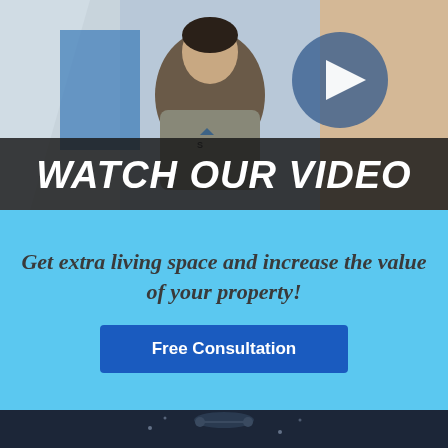[Figure (photo): Video thumbnail showing a young man in a gray sweater against a blue and white interior background, with a large play button icon visible. Dark semi-transparent overlay at bottom displays 'WATCH OUR VIDEO' in large bold italic white text.]
Get extra living space and increase the value of your property!
Free Consultation
[Figure (photo): Dark background section at the bottom with a partially visible image, appears to be a decorative or product photo with dark tones.]